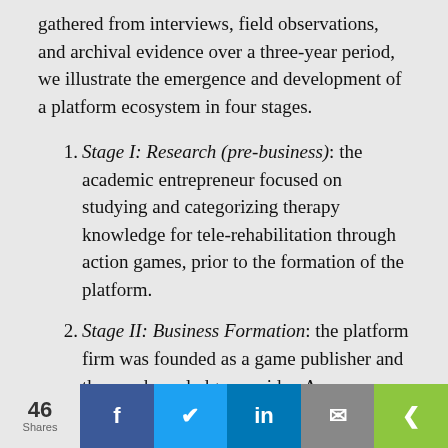gathered from interviews, field observations, and archival evidence over a three-year period, we illustrate the emergence and development of a platform ecosystem in four stages.
Stage I: Research (pre-business): the academic entrepreneur focused on studying and categorizing therapy knowledge for tele-rehabilitation through action games, prior to the formation of the platform.
Stage II: Business Formation: the platform firm was founded as a game publisher and therapy knowledge provider. As a